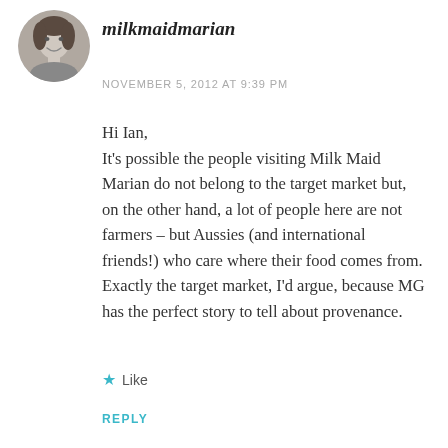[Figure (photo): Circular avatar photo of a woman smiling, black and white]
milkmaidmarian
NOVEMBER 5, 2012 AT 9:39 PM
Hi Ian,
It's possible the people visiting Milk Maid Marian do not belong to the target market but, on the other hand, a lot of people here are not farmers – but Aussies (and international friends!) who care where their food comes from. Exactly the target market, I'd argue, because MG has the perfect story to tell about provenance.
★ Like
REPLY